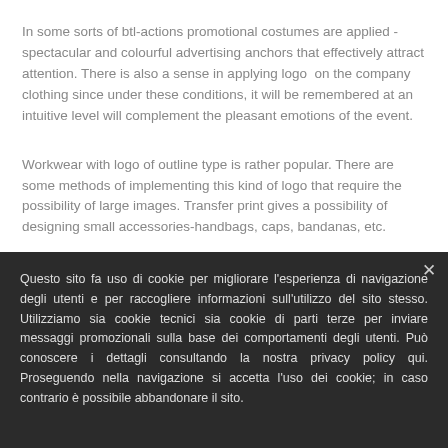In some sorts of btl-actions promotional costumes are applied - spectacular and colourful advertising anchors that effectively attract attention. There is also a sense in applying logo  on the company clothing since under these conditions, it will be remembered at an intuitive level will complement the pleasant emotions of the event.
Workwear with logo of outline type is rather popular. There are some methods of implementing this kind of logo that require the possibility of large images. Transfer print gives a possibility of designing small accessories-handbags, caps, bandanas, etc.
It is important to understand that overalls and the company's logo are images, the face of the company, it is a tool to be remembered by the
Questo sito fa uso di cookie per migliorare l'esperienza di navigazione degli utenti e per raccogliere informazioni sull'utilizzo del sito stesso. Utilizziamo sia cookie tecnici sia cookie di parti terze per inviare messaggi promozionali sulla base dei comportamenti degli utenti. Può conoscere i dettagli consultando la nostra privacy policy qui. Proseguendo nella navigazione si accetta l'uso dei cookie; in caso contrario è possibile abbandonare il sito.